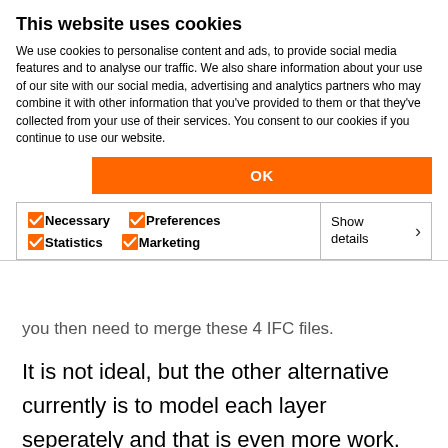This website uses cookies
We use cookies to personalise content and ads, to provide social media features and to analyse our traffic. We also share information about your use of our site with our social media, advertising and analytics partners who may combine it with other information that you've provided to them or that they've collected from your use of their services. You consent to our cookies if you continue to use our website.
OK
Necessary  Preferences  Statistics  Marketing  Show details
you then need to merge these 4 IFC files.
It is not ideal, but the other alternative currently is to model each layer seperately and that is even more work.
It is interesting to see that the need to have these be seperate is not exclusive to Dutch market, unless your project also takes place in NL.